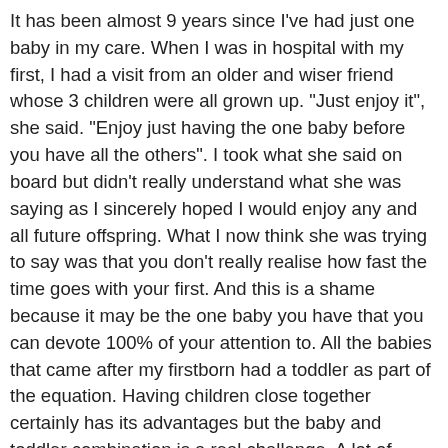It has been almost 9 years since I've had just one baby in my care. When I was in hospital with my first, I had a visit from an older and wiser friend whose 3 children were all grown up. "Just enjoy it", she said. "Enjoy just having the one baby before you have all the others". I took what she said on board but didn't really understand what she was saying as I sincerely hoped I would enjoy any and all future offspring. What I now think she was trying to say was that you don't really realise how fast the time goes with your first. And this is a shame because it may be the one baby you have that you can devote 100% of your attention to. All the babies that came after my firstborn had a toddler as part of the equation. Having children close together certainly has its advantages but the baby and toddler combination is a real challenge. A lot of people comment on how busy things must be for me with 5 children but I'm quick to say that right now is the easiest time I've had in my parenting journey. I'm sure things will be interesting with 5 teenagers in the home but right now, having 5 children with 2 at full-time school, 2 in part-time Kinder and a baby (without a toddler) is a lot easier than the extreme parenting experience I had with 4 children under 4 years with them all at home full-time.